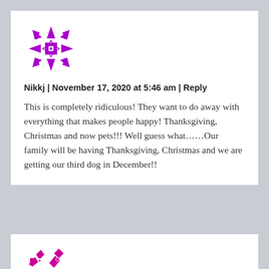[Figure (illustration): Purple geometric snowflake/star avatar icon for user Nikkj]
Nikkj | November 17, 2020 at 5:46 am | Reply
This is completely ridiculous! They want to do away with everything that makes people happy! Thanksgiving, Christmas and now pets!!! Well guess what......Our family will be having Thanksgiving, Christmas and we are getting our third dog in December!!
[Figure (illustration): Pink/magenta geometric avatar icon partially visible at bottom]